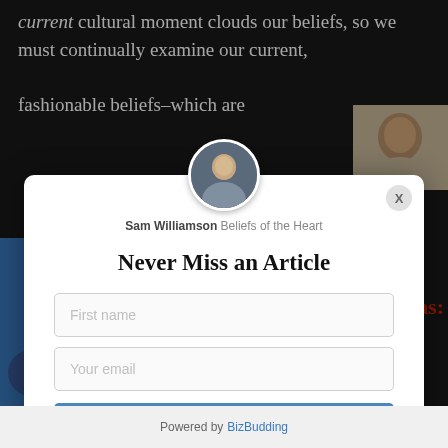current cultural moment clouds our beliefs, so we must continually examine our current, fashionable beliefs–which are
[Figure (screenshot): Modal popup overlay on a dark webpage background showing a newsletter sign-up form]
Sam Williamson Beliefs of the Heart
Never Miss an Article
First name
Your email
Sign Up Now
Powered by BizBudding